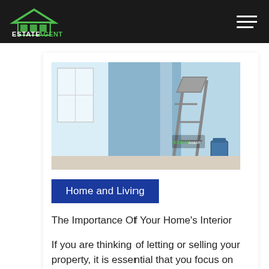Estate Agent Networking
[Figure (photo): Interior room being painted with blue paint, a stepladder visible, bright windows in background, small Estate Agent Networking logo watermark in corner.]
Home and Living
The Importance Of Your Home's Interior
If you are thinking of letting or selling your property, it is essential that you focus on the interior as well as the exterior. This is because the interior of a property can be just as important as the exterior when it comes to attracting